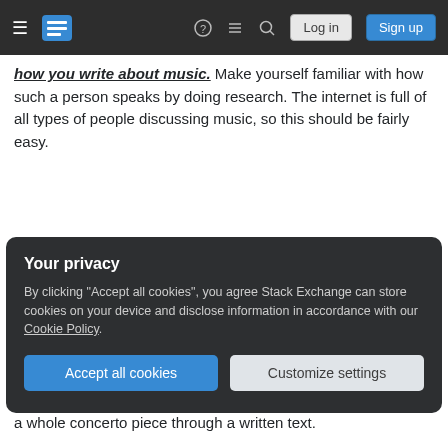Stack Exchange navigation bar with Log in and Sign up buttons
how you write about music. Make yourself familiar with how such a person speaks by doing research. The internet is full of all types of people discussing music, so this should be fairly easy.
Share
Improve this answer
Follow
edited May 11, 2014 at 13:21
answered May 11, 2014 at 9:08
user5645
Add a comment
Your privacy
By clicking "Accept all cookies", you agree Stack Exchange can store cookies on your device and disclose information in accordance with our Cookie Policy.
Accept all cookies   Customize settings
a whole concerto piece through a written text.